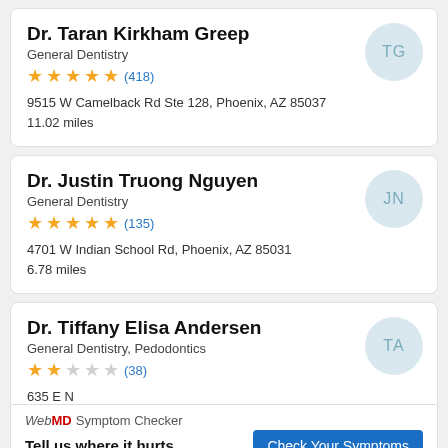Dr. Taran Kirkham Greep
General Dentistry
★★★★★ (418)
9515 W Camelback Rd Ste 128, Phoenix, AZ 85037
11.02 miles
Dr. Justin Truong Nguyen
General Dentistry
★★★★★ (135)
4701 W Indian School Rd, Phoenix, AZ 85031
6.78 miles
Dr. Tiffany Elisa Andersen
General Dentistry, Pedodontics
★★☆☆☆ (38)
635 E...
WebMD Symptom Checker
Tell us where it hurts.
Check Your Symptoms
ADVERTISEMENT